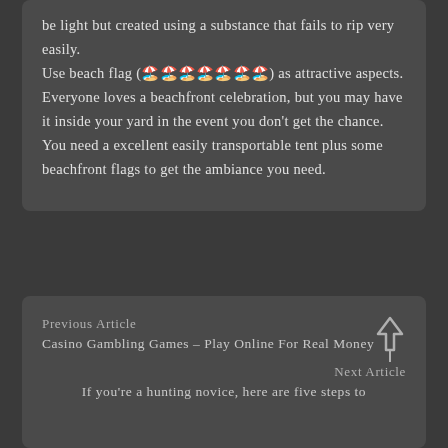be light but created using a substance that fails to rip very easily.
Use beach flag (🏖️🏖️🏖️🏖️🏖️🏖️🏖️) as attractive aspects. Everyone loves a beachfront celebration, but you may have it inside your yard in the event you don't get the chance. You need a excellent easily transportable tent plus some beachfront flags to get the ambiance you need.
Previous Article
Casino Gambling Games – Play Online For Real Money
Next Article
If you're a hunting novice, here are five steps to